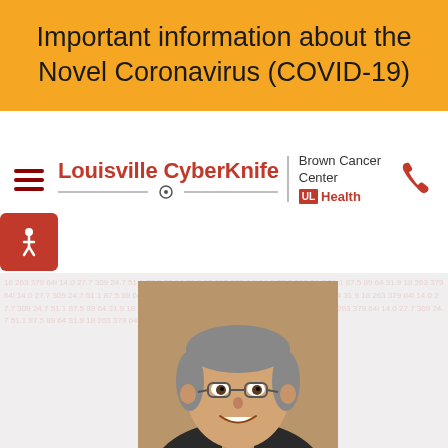Important information about the Novel Coronavirus (COVID-19)
[Figure (logo): Louisville CyberKnife Brown Cancer Center UL Health logo with navigation hamburger menu and phone icon]
[Figure (photo): Headshot photo of a middle-aged man with glasses, grey hair, smiling, wearing a dark jacket over a red shirt, set against a brown/tan background]